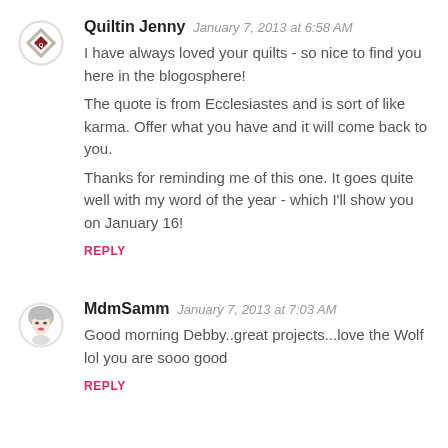[Figure (illustration): Round avatar icon for Quiltin Jenny, showing a quilt-pattern logo with a red diamond shape]
Quiltin Jenny  January 7, 2013 at 6:58 AM
I have always loved your quilts - so nice to find you here in the blogosphere!
The quote is from Ecclesiastes and is sort of like karma. Offer what you have and it will come back to you.
Thanks for reminding me of this one. It goes quite well with my word of the year - which I'll show you on January 16!
REPLY
[Figure (illustration): Round avatar icon for MdmSamm, showing a stylized illustration of a woman's face]
MdmSamm  January 7, 2013 at 7:03 AM
Good morning Debby..great projects...love the Wolf lol you are sooo good
REPLY